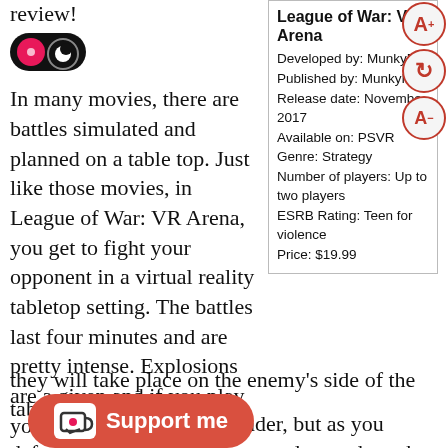review!
[Figure (illustration): Dark toggle/switch icon with pink/red dot on left and moon shape on right]
In many movies, there are battles simulated and planned on a table top. Just like those movies, in League of War: VR Arena, you get to fight your opponent in a virtual reality tabletop setting. The battles last four minutes and are pretty intense. Explosions are a given and if you play your hand right, they will take place on the enemy's side of the table.
League of War: VR Arena
Developed by: MunkyFu
Published by: MunkyFu
Release date: November 2017
Available on: PSVR
Genre: Strategy
Number of players: Up to two players
ESRB Rating: Teen for violence
Price: $19.99
[Figure (illustration): Font size controls: A+ increase, circular arrow reset, A- decrease buttons]
they will take place on the enemy's side of the table.
[Figure (illustration): Support me button with Ko-fi cup icon]
one commander, but as you defeat their foes, more commanders and combat vehicles